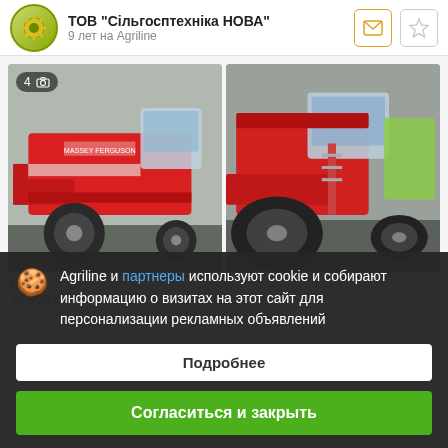ТОВ "Сільгосптехніка НОВА" — 9 лет на Agriline
[Figure (photo): Red Massey Ferguson combine harvester, left side view, parked in a yard. Photo count badge shows 4.]
[Figure (photo): Red combine harvester, front-right view showing header and wheels.]
75 000 €
Зернозбиральний...
Год випуску...
Agriline и партнеры используют cookie и собирают информацию о визитах на этот сайт для персонализации рекламных объявлений
Подробнее
Согласиться и закрыть